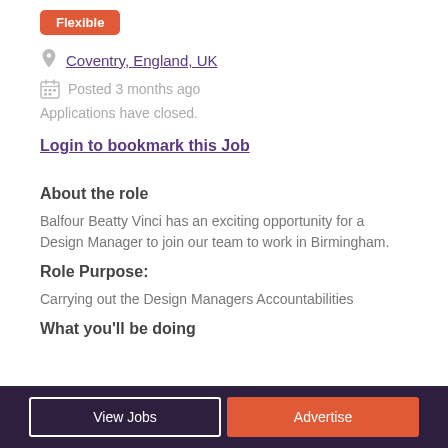Flexible
Coventry, England, UK
Posted 3 months ago
Applications have closed.
Login to bookmark this Job
About the role
Balfour Beatty Vinci has an exciting opportunity for a Design Manager to join our team to work in Birmingham.
Role Purpose:
Carrying out the Design Managers Accountabilities
What you'll be doing
View Jobs | Advertise